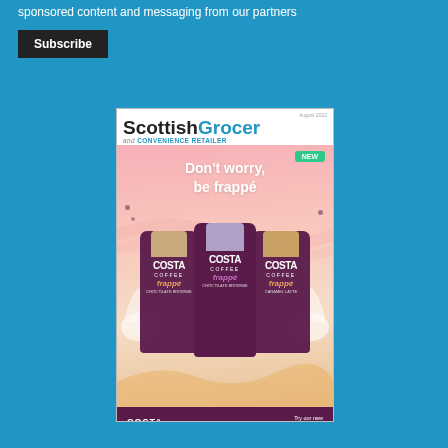sponsored content and messaging from our partners
Subscribe
[Figure (illustration): Scottish Grocer and Convenience Retailer magazine cover featuring Costa Coffee frappé advertisement. The cover shows three Costa Coffee frappé bottles (chocolate brownie flavour variants) on a pink/peach background with text 'Don't worry, be frappé' and a NEW badge. The bottom section has a dark purple/maroon bar with Costa Coffee logo and 'Try our new frappé' text.]